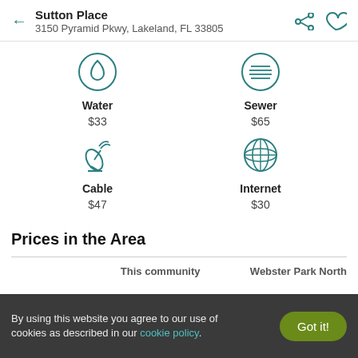Sutton Place
3150 Pyramid Pkwy, Lakeland, FL 33805
Water
$33
Sewer
$65
Cable
$47
Internet
$30
Prices in the Area
|  | This community | Webster Park North |
| --- | --- | --- |
By using this website you agree to our use of cookies as described in our cookie policy.